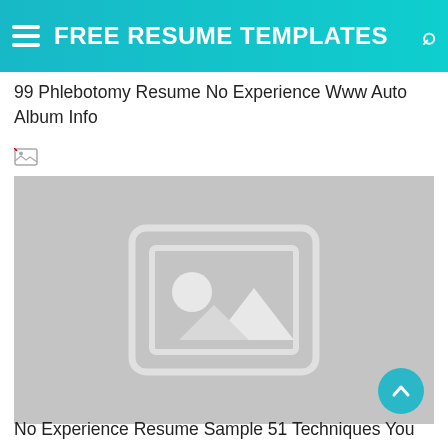FREE RESUME TEMPLATES
99 Phlebotomy Resume No Experience Www Auto Album Info
[Figure (illustration): Broken image icon (small) followed by a large gray placeholder image with a white image icon (mountain/photo placeholder) in the center]
No Experience Resume Sample 51 Techniques You